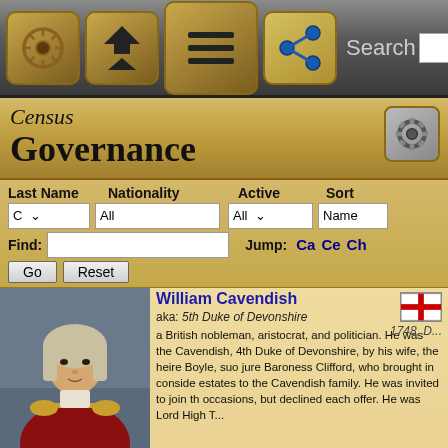[Figure (screenshot): Mobile app navigation bar with ship wheel, home, menu, and share icons plus search field]
Census
Governance
| Last Name | Nationality | Active | Sort |
| --- | --- | --- | --- |
| C ▾ | All | All ▾ | Name |
Find:   [input]   Jump: Ca  Ce  Ch
Go   Reset
William Cavendish
aka: 5th Duke of Devonshire
a British nobleman, aristocrat, and politician. He was the Cavendish, 4th Duke of Devonshire, by his wife, the heire Boyle, suo jure Baroness Clifford, who brought in consid estates to the Cavendish family. He was invited to join th occasions, but declined each offer. He was Lord High T...
Links (1)
William Cecil
aka: 1st Baron Burghley
born 1520, Se
English...